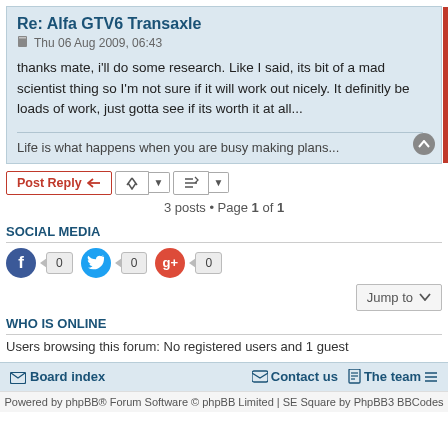Re: Alfa GTV6 Transaxle
Thu 06 Aug 2009, 06:43
thanks mate, i'll do some research. Like I said, its bit of a mad scientist thing so I'm not sure if it will work out nicely. It definitly be loads of work, just gotta see if its worth it at all...
Life is what happens when you are busy making plans...
3 posts • Page 1 of 1
SOCIAL MEDIA
WHO IS ONLINE
Users browsing this forum: No registered users and 1 guest
Board index   Contact us   The team
Powered by phpBB® Forum Software © phpBB Limited | SE Square by PhpBB3 BBCodes